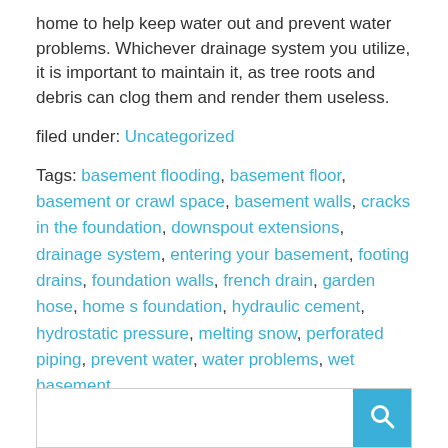home to help keep water out and prevent water problems. Whichever drainage system you utilize, it is important to maintain it, as tree roots and debris can clog them and render them useless.
filed under: Uncategorized
Tags: basement flooding, basement floor, basement or crawl space, basement walls, cracks in the foundation, downspout extensions, drainage system, entering your basement, footing drains, foundation walls, french drain, garden hose, home s foundation, hydraulic cement, hydrostatic pressure, melting snow, perforated piping, prevent water, water problems, wet basement
[Figure (other): Search bar with a blue search button containing a magnifying glass icon]